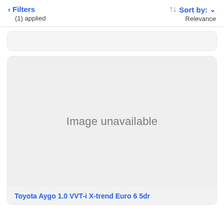< Filters
(1) applied
Sort by: Relevance
[Figure (screenshot): Image unavailable placeholder for a car listing]
Toyota Aygo 1.0 VVT-i X-trend Euro 6 5dr